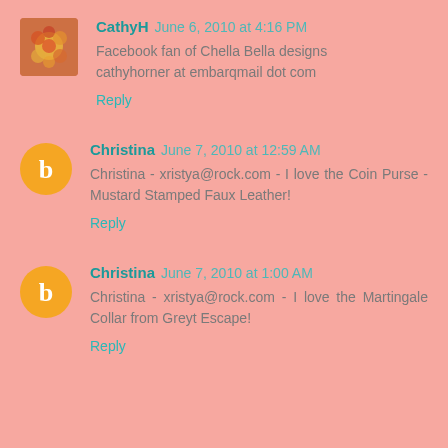CathyH June 6, 2010 at 4:16 PM — Facebook fan of Chella Bella designs cathyhorner at embarqmail dot com — Reply
Christina June 7, 2010 at 12:59 AM — Christina - xristya@rock.com - I love the Coin Purse - Mustard Stamped Faux Leather! — Reply
Christina June 7, 2010 at 1:00 AM — Christina - xristya@rock.com - I love the Martingale Collar from Greyt Escape! — Reply